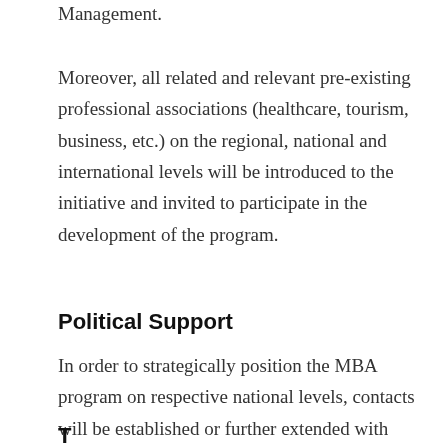Management.
Moreover, all related and relevant pre-existing professional associations (healthcare, tourism, business, etc.) on the regional, national and international levels will be introduced to the initiative and invited to participate in the development of the program.
Political Support
In order to strategically position the MBA program on respective national levels, contacts will be established or further extended with regulatory bodies and related ministries (Health, Tourism, Economy, etc.)
T…